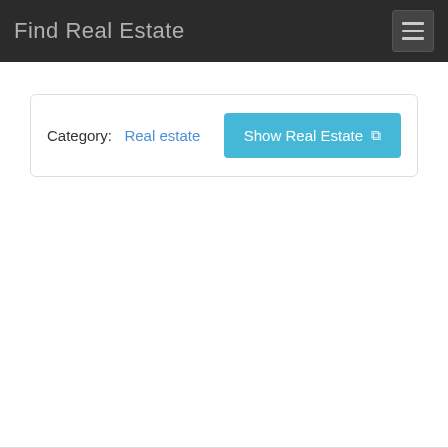Find Real Estate
Category: Real estate
Show Real Estate